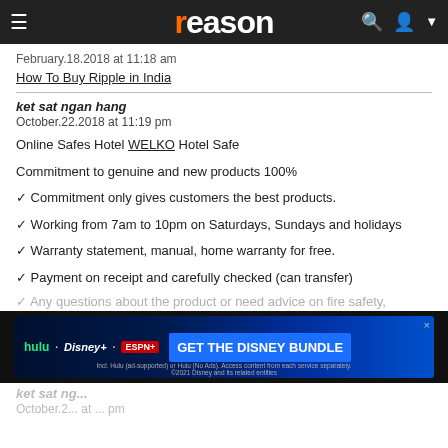reason
February.18.2018 at 11:18 am
How To Buy Ripple in India
ket sat ngan hang
October.22.2018 at 11:19 pm
Online Safes Hotel WELKO Hotel Safe

Commitment to genuine and new products 100%

✓ Commitment only gives customers the best products.

✓ Working from 7am to 10pm on Saturdays, Sundays and holidays

✓ Warranty statement, manual, home warranty for free.

✓ Payment on receipt and carefully checked (can transfer)
✓ Any questions about the product or need advice on fire safety,
[Figure (other): Hulu/Disney+/ESPN+ advertisement banner: GET THE DISNEY BUNDLE]
ket sat ng...
October.2... at ... pm